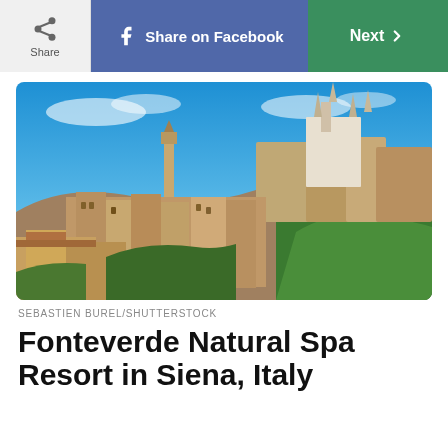Share | Share on Facebook | Next
[Figure (photo): Aerial panoramic view of Siena, Italy showing the historic city with medieval buildings, terracotta rooftops, dense stone structures, lush green trees, and the Siena Cathedral (Duomo) with its distinctive black and white striped marble facade and bell tower visible on the hilltop, photographed against a bright blue sky.]
SEBASTIEN BUREL/SHUTTERSTOCK
Fonteverde Natural Spa Resort in Siena, Italy